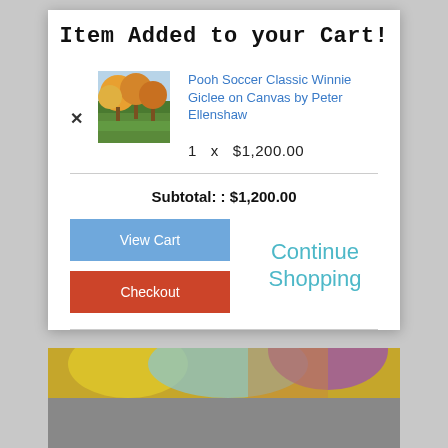Item Added to your Cart!
Pooh Soccer Classic Winnie Giclee on Canvas by Peter Ellenshaw
1  x  $1,200.00
Subtotal: : $1,200.00
View Cart
Checkout
Continue Shopping
[Figure (photo): Small thumbnail of a painting showing autumn trees with orange and yellow foliage in a landscape setting]
[Figure (illustration): Background images of colorful artwork visible behind the modal dialog]